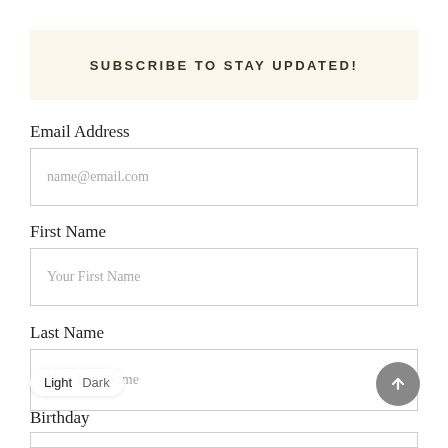SUBSCRIBE TO STAY UPDATED!
Email Address
name@email.com
First Name
Your First Name
Last Name
Your Last Name
Light  Dark
Birthday